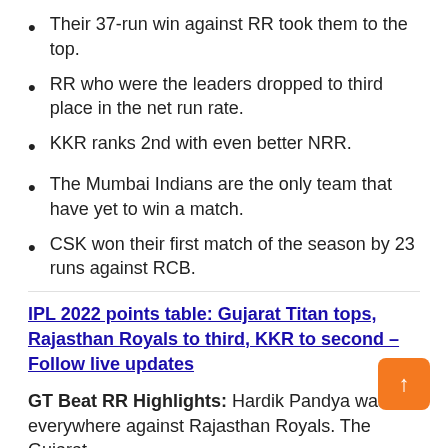Their 37-run win against RR took them to the top.
RR who were the leaders dropped to third place in the net run rate.
KKR ranks 2nd with even better NRR.
The Mumbai Indians are the only team that have yet to win a match.
CSK won their first match of the season by 23 runs against RCB.
IPL 2022 points table: Gujarat Titan tops, Rajasthan Royals to third, KKR to second – Follow live updates
GT Beat RR Highlights: Hardik Pandya was everywhere against Rajasthan Royals. The Gujarat